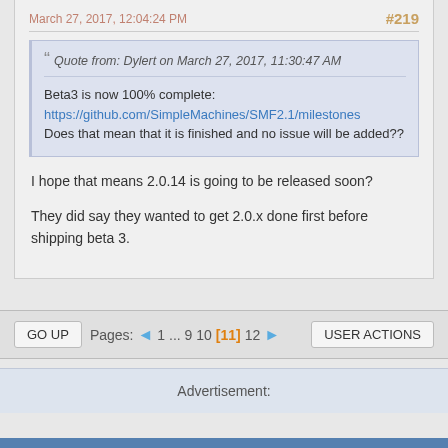March 27, 2017, 12:04:24 PM  #219
Quote from: Dylert on March 27, 2017, 11:30:47 AM

Beta3 is now 100% complete:
https://github.com/SimpleMachines/SMF2.1/milestones
Does that mean that it is finished and no issue will be added??
I hope that means 2.0.14 is going to be released soon?

They did say they wanted to get 2.0.x done first before shipping beta 3.
GO UP   Pages: ◄ 1 ... 9 10 [11] 12 ►   USER ACTIONS
Advertisement: